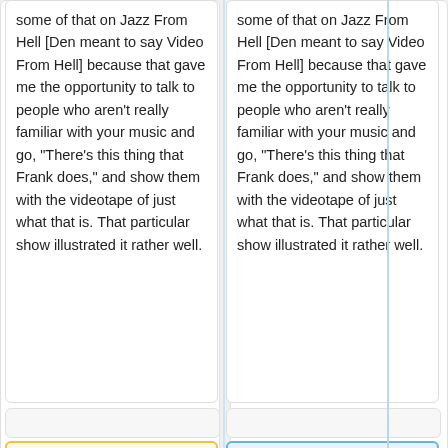some of that on Jazz From Hell [Den meant to say Video From Hell] because that gave me the opportunity to talk to people who aren't really familiar with your music and go, "There's this thing that Frank does," and show them with the videotape of just what that is. That particular show illustrated it rather well.
some of that on Jazz From Hell [Den meant to say Video From Hell] because that gave me the opportunity to talk to people who aren't really familiar with your music and go, "There's this thing that Frank does," and show them with the videotape of just what that is. That particular show illustrated it rather well.
"'Frank Zappa:'"
"'Frank Zappa:'"